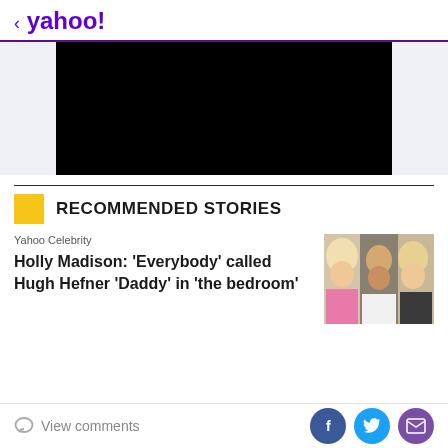< yahoo!
[Figure (other): Black video player rectangle on light gray background]
RECOMMENDED STORIES
Yahoo Celebrity
Holly Madison: 'Everybody' called Hugh Hefner 'Daddy' in 'the bedroom'
[Figure (photo): Photo of Holly Madison, Hugh Hefner, and another blonde woman at an event]
View comments